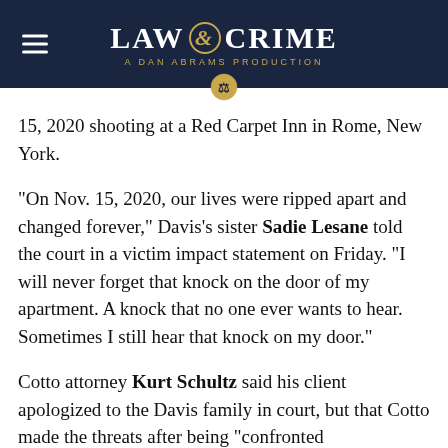LAW & CRIME — A DAN ABRAMS PRODUCTION
15, 2020 shooting at a Red Carpet Inn in Rome, New York.
“On Nov. 15, 2020, our lives were ripped apart and changed forever,” Davis’s sister Sadie Lesane told the court in a victim impact statement on Friday. “I will never forget that knock on the door of my apartment. A knock that no one ever wants to hear. Sometimes I still hear that knock on my door.”
Cotto attorney Kurt Schultz said his client apologized to the Davis family in court, but that Cotto made the threats after being “confronted